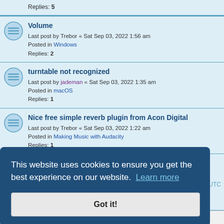Replies: 5
Volume
Last post by Trebor « Sat Sep 03, 2022 1:56 am
Posted in Windows
Replies: 2
turntable not recognized
Last post by jademan « Sat Sep 03, 2022 1:35 am
Posted in macOS
Replies: 1
Nice free simple reverb plugin from Acon Digital
Last post by Trebor « Sat Sep 03, 2022 1:22 am
Posted in Making Music with Audacity
Replies: 1
Playback Meters active, actual sound suddenly gone forever
Last post by DVDdoug « Fri Sep 02, 2022 11:35 pm
Posted in Windows
Replies: 1
This website uses cookies to ensure you get the best experience on our website. Learn more
Got it!
es are UTC